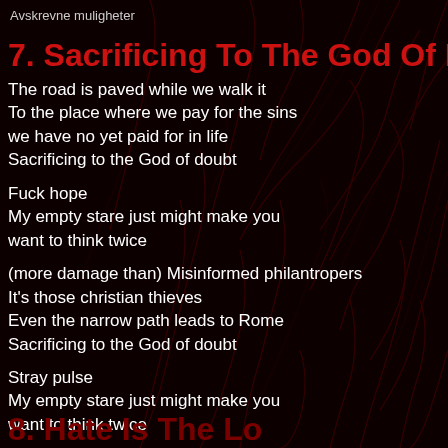Avskrevne muligheter
7. Sacrificing To The God Of Do
The road is paved while we walk it
To the place where we pay for the sins
we have no yet paid for in life
Sacrificin to the God of doubt

Fuck hope
My empty stare just might make you
want to think twice

(more damage than) Misinformed philantropers
It's those christian thieves
Even the narrow path leads to Rome
Sacrificin to the God of doubt

Stray pulse
My empty stare just might make you
want to think twice
8. Hate Is The Lo